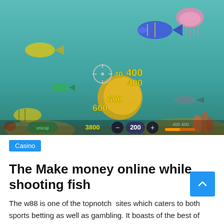[Figure (screenshot): Screenshot of an underwater fish shooting game with colorful sea creatures, score numbers (400, 400, 600, 600, 3800, 200, 400, 400) and game UI controls visible against a teal ocean background.]
Casino
The Make money online while shooting fish
The w88 is one of the topnotch  sites which caters to both sports betting as well as gambling. It boasts of the best of